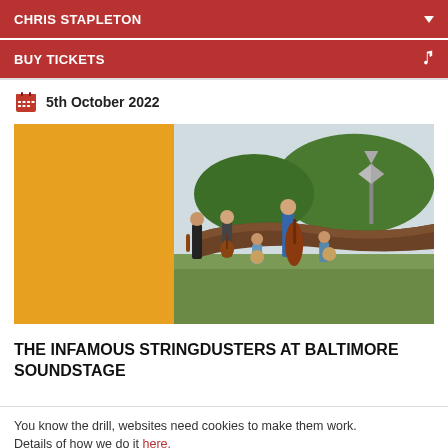CHRIS STAPLETON
BUY TICKETS
5th October 2022
[Figure (photo): Band photo of The Infamous Stringdusters standing and sitting outdoors near a fallen tree trunk, holding various string instruments including violin, guitar, double bass, and banjo. Left portion of image is an orange panel.]
THE INFAMOUS STRINGDUSTERS AT BALTIMORE SOUNDSTAGE
You know the drill, websites need cookies to make them work. Details of how we do it here.
Got it!